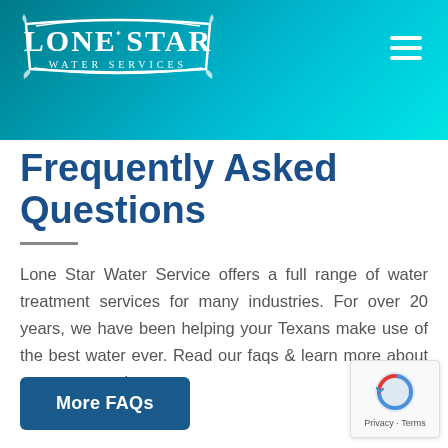[Figure (logo): Lone Star Water Services logo — white text on teal/blue gradient header background, with decorative banner design]
Frequently Asked Questions
Lone Star Water Service offers a full range of water treatment services for many industries. For over 20 years, we have been helping your Texans make use of the best water ever. Read our faqs & learn more about our water services.
More FAQs